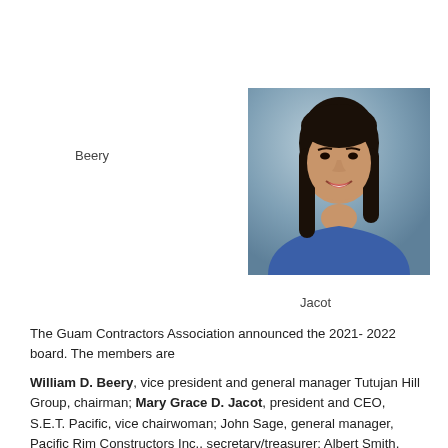Beery
[Figure (photo): Professional headshot of a woman with long dark hair wearing a blue top, against a blue-grey background]
Jacot
The Guam Contractors Association announced the 2021- 2022 board. The members are
William D. Beery, vice president and general manager Tutujan Hill Group, chairman; Mary Grace D. Jacot, president and CEO, S.E.T. Pacific, vice chairwoman; John Sage, general manager, Pacific Rim Constructors Inc., secretary/treasurer; Albert Smith, Smithbridge Guam; Donald J. McCann, vice president of operations, Black Construction Corp.; Jose